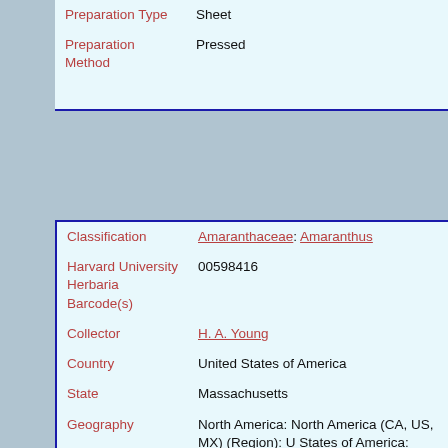| Field | Value |
| --- | --- |
| Preparation Type | Sheet |
| Preparation Method | Pressed |
| Field | Value |
| --- | --- |
| Classification | Amaranthaceae: Amaranthus |
| Harvard University Herbaria Barcode(s) | 00598416 |
| Collector | H. A. Young |
| Country | United States of America |
| State | Massachusetts |
| Geography | North America: North America (CA, US, MX) (Region): United States of America: Massachusetts: Suffolk County: Revere |
| Locality | Revere |
| Date Collected | 1878 [Oct, 1878] |
| Project | New England Vascular Plants TCN |
| GUID | http://purl.oclc.org/net/edu.harvard.huh/guid/uuid/26c...f881-408e-b2d0-2c7aa2782463 |